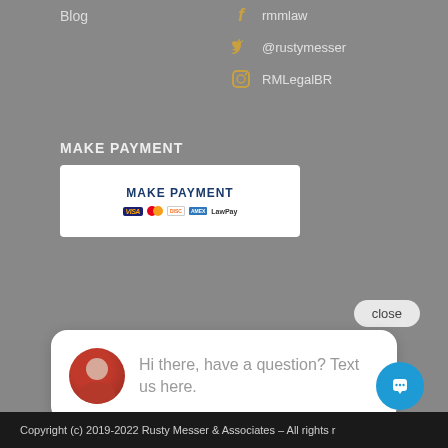Blog
rmmlaw
@rustymesser
RMLegalBR
MAKE PAYMENT
[Figure (screenshot): Make Payment button with VISA, Mastercard, Discover, AmEx, and LawPay logos]
close
Hi there, have a question? Text us here.
[Figure (illustration): Blue circular chat/message button icon]
Copyright (c) 2019-2022 Rusty Messer & Associates – All rights r